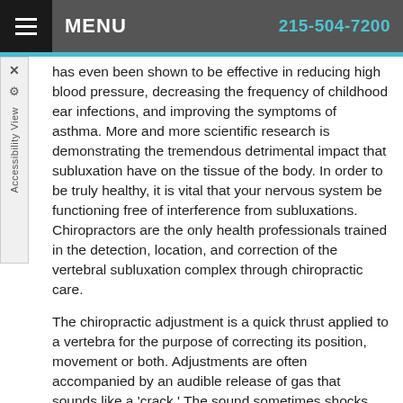MENU   215-504-7200
has even been shown to be effective in reducing high blood pressure, decreasing the frequency of childhood ear infections, and improving the symptoms of asthma. More and more scientific research is demonstrating the tremendous detrimental impact that subluxation have on the tissue of the body. In order to be truly healthy, it is vital that your nervous system be functioning free of interference from subluxations. Chiropractors are the only health professionals trained in the detection, location, and correction of the vertebral subluxation complex through chiropractic care.
The chiropractic adjustment is a quick thrust applied to a vertebra for the purpose of correcting its position, movement or both. Adjustments are often accompanied by an audible release of gas that sounds like a 'crack.' The sound sometimes shocks people a little bit the first couple times they get adjusted, but the sensation is usually relieving. Occasionally, minor discomfort is experienced, especially if the